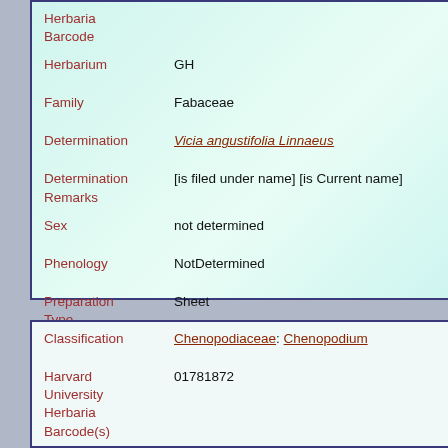| Field | Value |
| --- | --- |
| Herbaria Barcode |  |
| Herbarium | GH |
| Family | Fabaceae |
| Determination | Vicia angustifolia Linnaeus |
| Determination Remarks | [is filed under name] [is Current name] |
| Sex | not determined |
| Phenology | NotDetermined |
| Preparation Type | Sheet |
| Preparation Method | Pressed |
| Field | Value |
| --- | --- |
| Classification | Chenopodiaceae: Chenopodium |
| Harvard University Herbaria Barcode(s) | 01781872 |
| Collector | W. J. Cody |